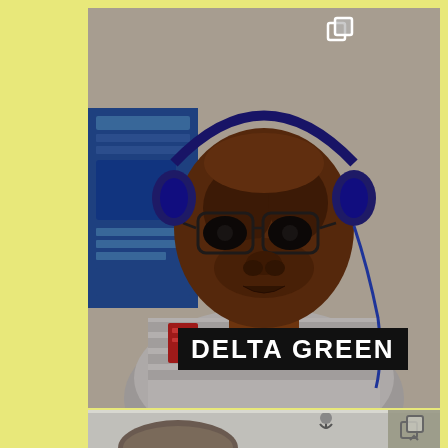[Figure (photo): Screenshot of a person wearing headphones and glasses, viewed from below/straight on. They appear to be on a video call. A blue book or poster is visible in the background on the left. The image has a dark, high-contrast color tone. A 'DELTA GREEN' logo/text overlay appears at the bottom of the image in white bold text on a black rectangle.]
DELTA GREEN
[Figure (screenshot): Partial screenshot at the bottom showing another person's head/hair from the top, on what appears to be a video call interface. A microphone icon and a copy/share icon are visible. The background is light gray/beige.]